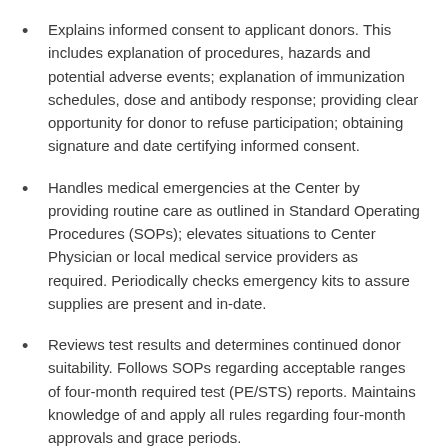Explains informed consent to applicant donors. This includes explanation of procedures, hazards and potential adverse events; explanation of immunization schedules, dose and antibody response; providing clear opportunity for donor to refuse participation; obtaining signature and date certifying informed consent.
Handles medical emergencies at the Center by providing routine care as outlined in Standard Operating Procedures (SOPs); elevates situations to Center Physician or local medical service providers as required. Periodically checks emergency kits to assure supplies are present and in-date.
Reviews test results and determines continued donor suitability. Follows SOPs regarding acceptable ranges of four-month required test (PE/STS) reports. Maintains knowledge of and apply all rules regarding four-month approvals and grace periods.
Assess signs and symptoms a donor may exhibit that may